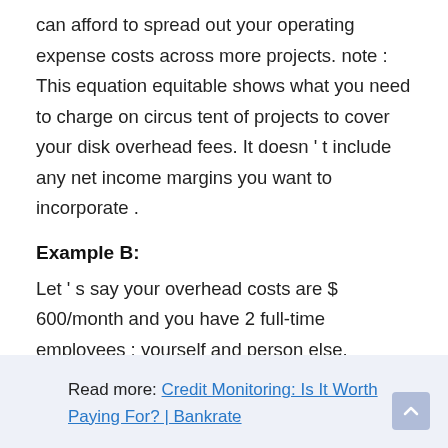can afford to spread out your operating expense costs across more projects. note : This equation equitable shows what you need to charge on circus tent of projects to cover your disk overhead fees. It doesn ' t include any net income margins you want to incorporate .
Example B:
Let ' s say your overhead costs are $ 600/month and you have 2 full-time employees : yourself and person else.
Read more: Credit Monitoring: Is It Worth Paying For? | Bankrate